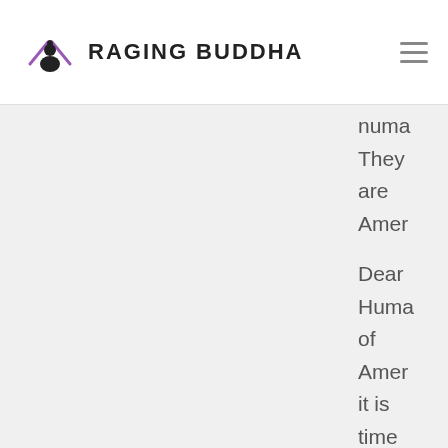Raging Buddha
numa... They are Amer...
Dear Huma... of Amer... it is time to get up on the neare... chair...